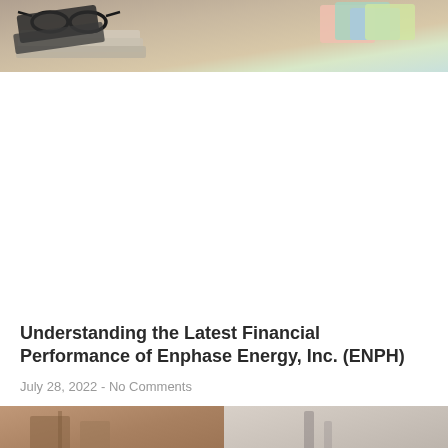[Figure (photo): Photo of glasses resting on documents/books with colorful chart materials in the background]
Understanding the Latest Financial Performance of Enphase Energy, Inc. (ENPH)
July 28, 2022 - No Comments
[Figure (photo): Two partial photos side by side at the bottom of the page]